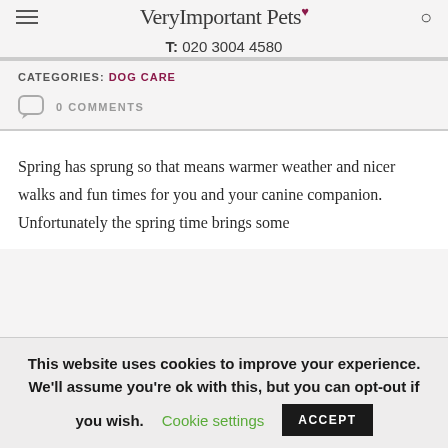VeryImportantPets♥  T: 020 3004 4580
CATEGORIES: DOG CARE
0 COMMENTS
Spring has sprung so that means warmer weather and nicer walks and fun times for you and your canine companion. Unfortunately the spring time brings some
This website uses cookies to improve your experience. We'll assume you're ok with this, but you can opt-out if you wish.  Cookie settings  ACCEPT